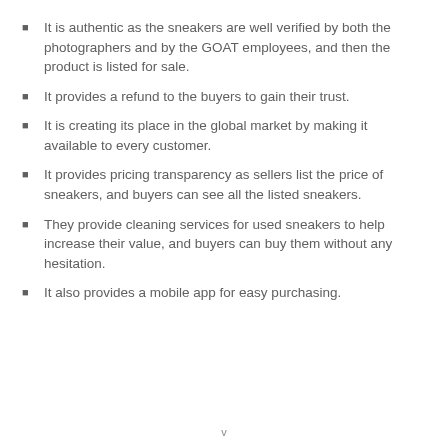It is authentic as the sneakers are well verified by both the photographers and by the GOAT employees, and then the product is listed for sale.
It provides a refund to the buyers to gain their trust.
It is creating its place in the global market by making it available to every customer.
It provides pricing transparency as sellers list the price of sneakers, and buyers can see all the listed sneakers.
They provide cleaning services for used sneakers to help increase their value, and buyers can buy them without any hesitation.
It also provides a mobile app for easy purchasing.
v